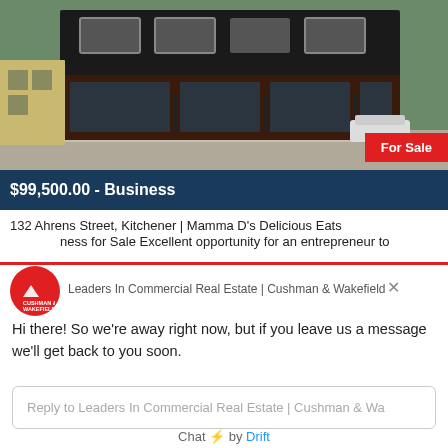[Figure (photo): Exterior photo of a dark commercial building with large windows and storefront, on a street corner. Red 'For Sale' badge in bottom right corner.]
$99,500.00 - Business
132 Ahrens Street, Kitchener | Mamma D's Delicious Eats
ness for Sale Excellent opportunity for an entrepreneur to
[Figure (logo): Cushman & Wakefield Waterloo Region circular red logo]
Leaders In Commercial Real Estate | Cushman & Wakefield
Hi there! So we're away right now, but if you leave us a message we'll get back to you soon.
Reply to Leaders In Commercial Real Estate | Cushman & Wa
Chat ⚡ by Drift